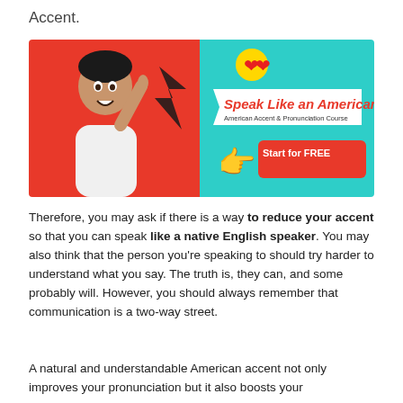Accent.
[Figure (illustration): Advertisement banner for 'Speak Like an American' American Accent & Pronunciation Course with a 'Start for FREE' button. Features a young man pointing up on a red background on the left, and teal background on the right with promotional text and a pointing hand emoji.]
Therefore, you may ask if there is a way to reduce your accent so that you can speak like a native English speaker. You may also think that the person you're speaking to should try harder to understand what you say. The truth is, they can, and some probably will. However, you should always remember that communication is a two-way street.
A natural and understandable American accent not only improves your pronunciation but it also boosts your